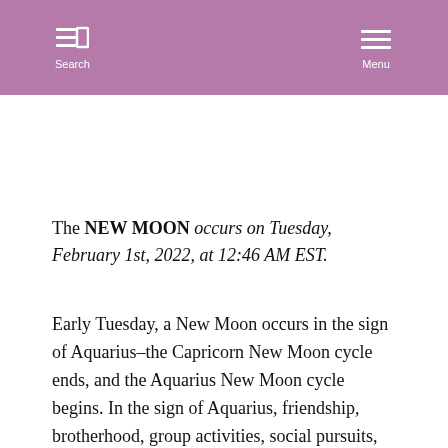Search  Menu
The NEW MOON occurs on Tuesday, February 1st, 2022, at 12:46 AM EST.
Early Tuesday, a New Moon occurs in the sign of Aquarius–the Capricorn New Moon cycle ends, and the Aquarius New Moon cycle begins. In the sign of Aquarius, friendship, brotherhood, group activities, social pursuits, group projects, trying something new, humanitarian efforts, or joining a